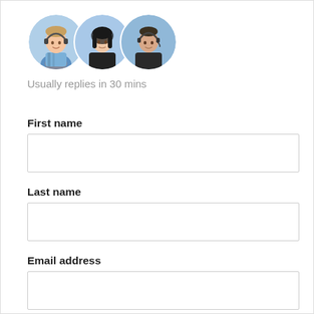[Figure (photo): Three overlapping circular avatar photos of customer support agents: a man on the left, a woman in the center, and a man on the right, all appearing to wear headsets or business attire.]
Usually replies in 30 mins
First name
Last name
Email address
Phone number